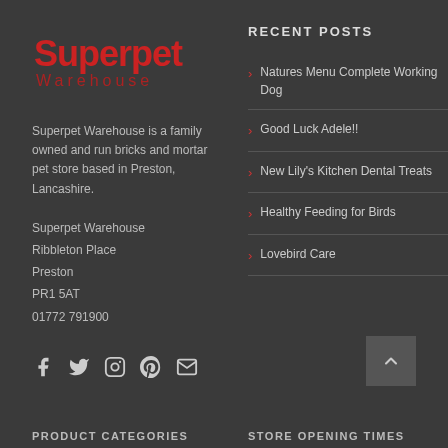[Figure (logo): Superpet Warehouse logo in red stylized text]
Superpet Warehouse is a family owned and run bricks and mortar pet store based in Preston, Lancashire.
Superpet Warehouse
Ribbleton Place
Preston
PR1 5AT
01772 791900
[Figure (illustration): Social media icons: Facebook, Twitter, Instagram, Pinterest, Email]
RECENT POSTS
Natures Menu Complete Working Dog
Good Luck Adele!!
New Lily's Kitchen Dental Treats
Healthy Feeding for Birds
Lovebird Care
PRODUCT CATEGORIES
STORE OPENING TIMES